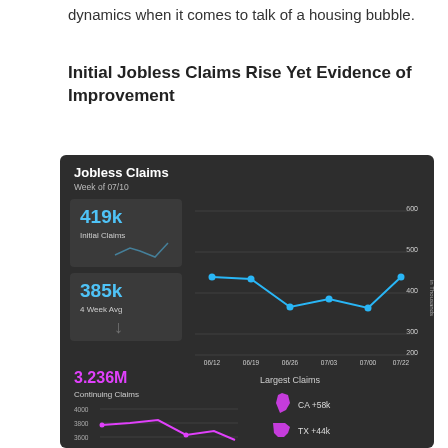dynamics when it comes to talk of a housing bubble.
Initial Jobless Claims Rise Yet Evidence of Improvement
[Figure (infographic): Jobless Claims dashboard showing: 419k Initial Claims, 385k 4 Week Average, line chart of weekly claims from 06/12 to 07/22 ranging around 400k, 3.236M Continuing Claims with area chart, and Largest Claims showing CA +58k and TX +44k]